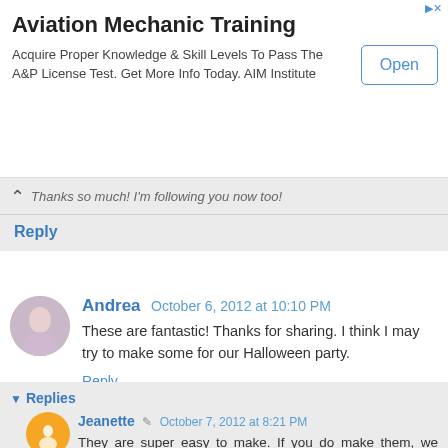[Figure (screenshot): Advertisement banner for Aviation Mechanic Training by AIM Institute with an Open button]
Thanks so much! I'm following you now too!
Reply
Andrea  October 6, 2012 at 10:10 PM
These are fantastic! Thanks for sharing. I think I may try to make some for our Halloween party.
Reply
Replies
Jeanette  October 7, 2012 at 8:21 PM
They are super easy to make. If you do make them, we would love to see how they turn out. Post a picture to our Facebook page - https://www.facebook.com/CraftyInCrosby